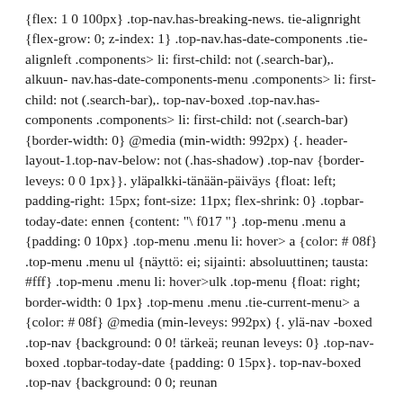{flex: 1 0 100px} .top-nav.has-breaking-news. tie-alignright {flex-grow: 0; z-index: 1} .top-nav.has-date-components .tie-alignleft .components> li: first-child: not (.search-bar),. alkuun- nav.has-date-components-menu .components> li: first-child: not (.search-bar),. top-nav-boxed .top-nav.has-components .components> li: first-child: not (.search-bar) {border-width: 0} @media (min-width: 992px) {. header-layout-1.top-nav-below: not (.has-shadow) .top-nav {border-leveys: 0 0 1px}}. yläpalkki-tänään-päiväys {float: left; padding-right: 15px; font-size: 11px; flex-shrink: 0} .topbar-today-date: ennen {content: "\ f017 "} .top-menu .menu a {padding: 0 10px} .top-menu .menu li: hover> a {color: # 08f} .top-menu .menu ul {näyttö: ei; sijainti: absoluuttinen; tausta: #fff} .top-menu .menu li: hover>ulk .top-menu {float: right; border-width: 0 1px} .top-menu .menu .tie-current-menu> a {color: # 08f} @media (min-leveys: 992px) {. ylä-nav -boxed .top-nav {background: 0 0! tärkeä; reunan leveys: 0} .top-nav-boxed .topbar-today-date {padding: 0 15px}. top-nav-boxed .top-nav {background: 0 0; reunan